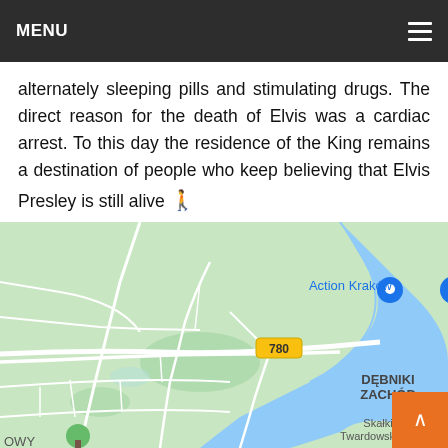MENU
alternately sleeping pills and stimulating drugs. The direct reason for the death of Elvis was a cardiac arrest. To this day the residence of the King remains a destination of people who keep believing that Elvis Presley is still alive 🚶
[Figure (map): Google Maps view showing Kraków area with Action Kraków location marker, road 780, Wisła river, DĘBNIKI ZACHÓD district label, and Skałki Twardowskiego label. Green areas, blue river, white roads visible.]